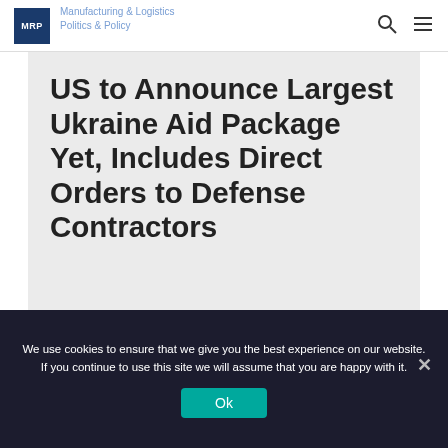MRP | Manufacturing & Logistics | Politics & Policy
US to Announce Largest Ukraine Aid Package Yet, Includes Direct Orders to Defense Contractors
August 24, 2022
We use cookies to ensure that we give you the best experience on our website. If you continue to use this site we will assume that you are happy with it.